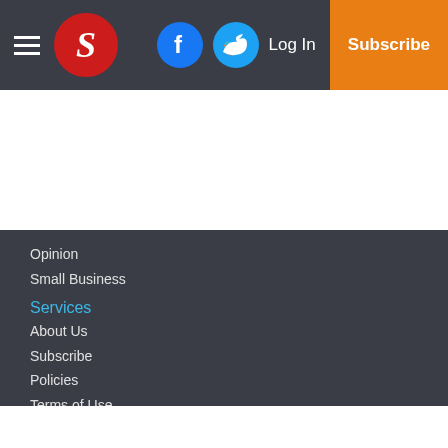S [logo] | Facebook | Twitter | Log In | Subscribe
Services
Opinion
Small Business
About Us
Subscribe
Policies
Terms of Use
Submit a News Tip
Submit a Photo
Engagement Announcement
Wedding Announcement
Copyright
© 2022, The Stanly News & Press